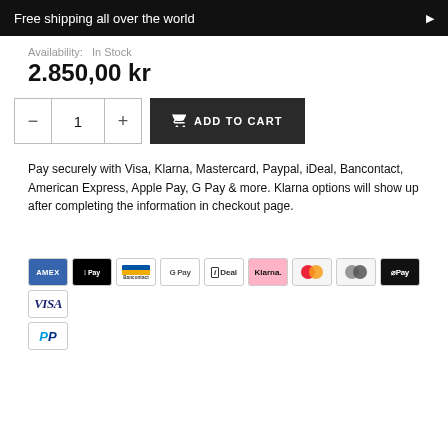Free shipping all over the world
Availability:  In Stock
2.850,00 kr
[Figure (other): Quantity selector with minus button, quantity 1, plus button, and Add to Cart button]
Pay securely with Visa, Klarna, Mastercard, Paypal, iDeal, Bancontact, American Express, Apple Pay, G Pay & more. Klarna options will show up after completing the information in checkout page.
[Figure (other): Payment method icons: Amex, Apple Pay, Bancontact, G Pay, iDeal, Klarna, Mastercard (x2), O Pay, Visa, PayPal]